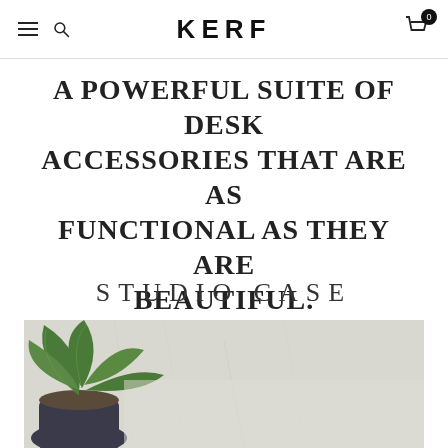KERF
A POWERFUL SUITE OF DESK ACCESSORIES THAT ARE AS FUNCTIONAL AS THEY ARE BEAUTIFUL.
STUDIO CASE
[Figure (photo): Photo of a green potted plant on a light textured surface, partial view showing leaves and a dark pot]